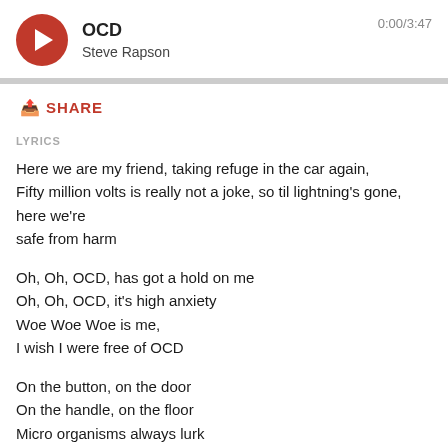[Figure (screenshot): Music player with red circular play button, track title OCD, artist Steve Rapson, and time 0:00/3:47]
SHARE
LYRICS
Here we are my friend, taking refuge in the car again,
Fifty million volts is really not a joke, so til lightning's gone, here we're safe from harm
Oh, Oh, OCD, has got a hold on me
Oh, Oh, OCD, it's high anxiety
Woe Woe Woe is me,
I wish I were free of OCD
On the button, on the door
On the handle, on the floor
Micro organisms always lurk
When I leave the house
A mask and gloves are de rigueur